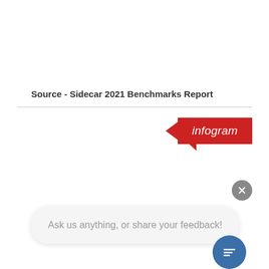Source - Sidecar 2021 Benchmarks Report
[Figure (logo): Infogram branding badge — red parallelogram shape with speech-bubble tail and white italic text 'infogram']
[Figure (screenshot): UI overlay: close button (grey circle with X), a chat input bubble with placeholder text 'Ask us anything, or share your feedback!', and a blue circular chat icon button with a message/lines icon]